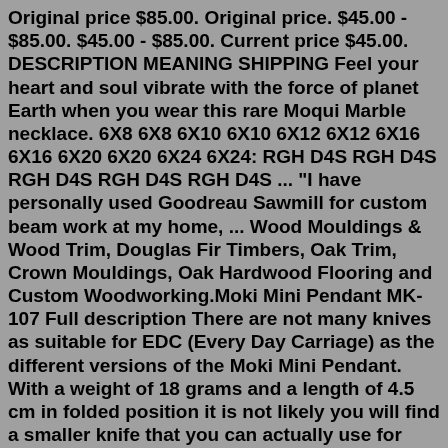Original price $85.00. Original price. $45.00 - $85.00. $45.00 - $85.00. Current price $45.00. DESCRIPTION MEANING SHIPPING Feel your heart and soul vibrate with the force of planet Earth when you wear this rare Moqui Marble necklace. 6X8 6X8 6X10 6X10 6X12 6X12 6X16 6X16 6X20 6X20 6X24 6X24: RGH D4S RGH D4S RGH D4S RGH D4S RGH D4S ... "I have personally used Goodreau Sawmill for custom beam work at my home, ... Wood Mouldings & Wood Trim, Douglas Fir Timbers, Oak Trim, Crown Mouldings, Oak Hardwood Flooring and Custom Woodworking.Moki Mini Pendant MK-107 Full description There are not many knives as suitable for EDC (Every Day Carriage) as the different versions of the Moki Mini Pendant. With a weight of 18 grams and a length of 4.5 cm in folded position it is not likely you will find a smaller knife that you can actually use for small cutting work. MK102EG Moki £123.95 Mini Pendant Folder Moki £89.95 Small Folder SKU. MK107 Moki £89.95 Small Folder (checkerboard) SKU. MK106 Moki £89.95